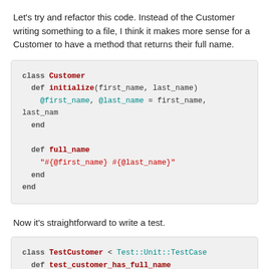Let's try and refactor this code. Instead of the Customer writing something to a file, I think it makes more sense for a Customer to have a method that returns their full name.
[Figure (screenshot): Ruby code block showing class Customer with initialize and full_name methods]
Now it's straightforward to write a test.
[Figure (screenshot): Ruby code block showing class TestCustomer < Test::Unit::TestCase with def test_customer_has_full_name]